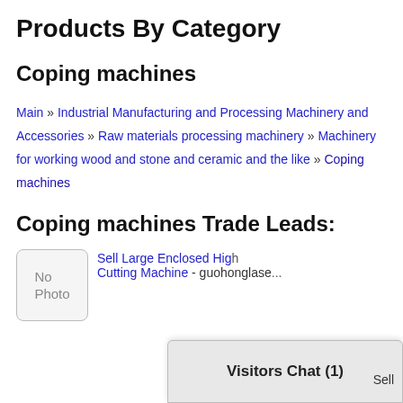Products By Category
Coping machines
Main » Industrial Manufacturing and Processing Machinery and Accessories » Raw materials processing machinery » Machinery for working wood and stone and ceramic and the like » Coping machines
Coping machines Trade Leads:
Sell Large Enclosed High... Cutting Machine - guohonglase... Sell
Visitors Chat (1)